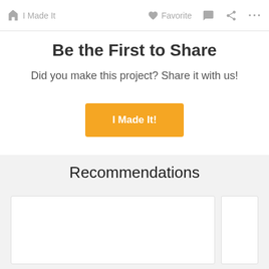I Made It
Be the First to Share
Did you make this project? Share it with us!
Recommendations